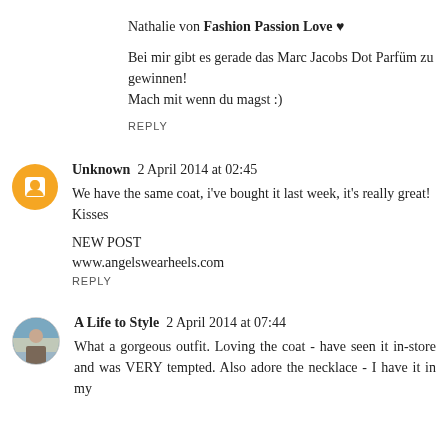Nathalie von Fashion Passion Love ♥
Bei mir gibt es gerade das Marc Jacobs Dot Parfüm zu gewinnen! Mach mit wenn du magst :)
REPLY
Unknown  2 April 2014 at 02:45
We have the same coat, i've bought it last week, it's really great! Kisses
NEW POST
www.angelswearheels.com
REPLY
A Life to Style  2 April 2014 at 07:44
What a gorgeous outfit. Loving the coat - have seen it in-store and was VERY tempted. Also adore the necklace - I have it in my